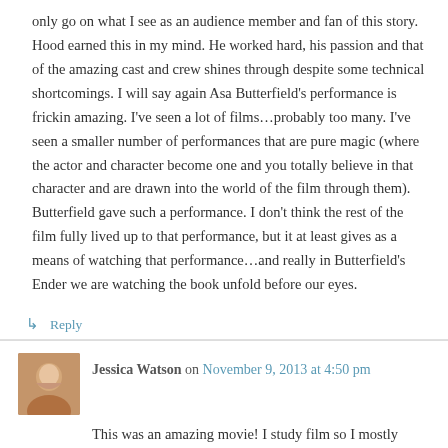only go on what I see as an audience member and fan of this story. Hood earned this in my mind. He worked hard, his passion and that of the amazing cast and crew shines through despite some technical shortcomings. I will say again Asa Butterfield's performance is frickin amazing. I've seen a lot of films…probably too many. I've seen a smaller number of performances that are pure magic (where the actor and character become one and you totally believe in that character and are drawn into the world of the film through them). Butterfield gave such a performance. I don't think the rest of the film fully lived up to that performance, but it at least gives as a means of watching that performance…and really in Butterfield's Ender we are watching the book unfold before our eyes.
↳ Reply
Jessica Watson on November 9, 2013 at 4:50 pm
This was an amazing movie! I study film so I mostly know what I'm talking about when i say this. I think the actors (minus a few smaller part actors) did a great job! The dialogue